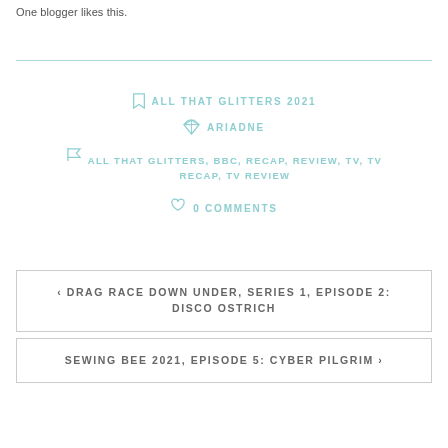One blogger likes this.
ALL THAT GLITTERS 2021
ARIADNE
ALL THAT GLITTERS, BBC, RECAP, REVIEW, TV, TV RECAP, TV REVIEW
0 COMMENTS
‹ DRAG RACE DOWN UNDER, SERIES 1, EPISODE 2: DISCO OSTRICH
SEWING BEE 2021, EPISODE 5: CYBER PILGRIM ›